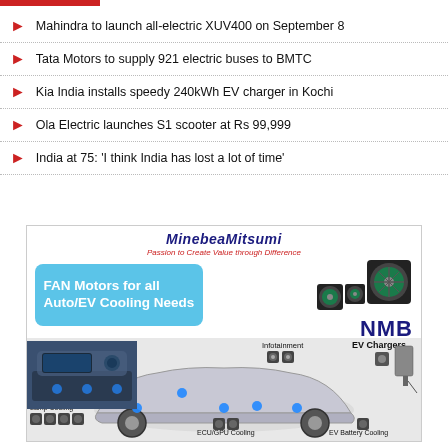Mahindra to launch all-electric XUV400 on September 8
Tata Motors to supply 921 electric buses to BMTC
Kia India installs speedy 240kWh EV charger in Kochi
Ola Electric launches S1 scooter at Rs 99,999
India at 75: 'I think India has lost a lot of time'
[Figure (illustration): MinebeaMitsumi advertisement showing FAN Motors for Auto/EV Cooling Needs with NMB branding, featuring fan motor images, a transparent EV car diagram showing Infotainment, Seat Ventilation, Lamp Cooling, ECU/GPU Cooling, EV Battery Cooling, and EV Chargers sections with respective fan/motor product images.]